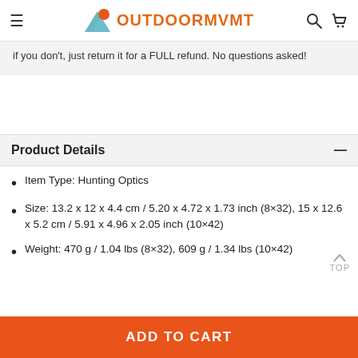OutdoorMVMT
if you don't, just return it for a FULL refund. No questions asked!
Product Details
Item Type: Hunting Optics
Size: 13.2 x 12 x 4.4 cm / 5.20 x 4.72 x 1.73 inch (8×32), 15 x 12.6 x 5.2 cm / 5.91 x 4.96 x 2.05 inch (10×42)
Weight: 470 g / 1.04 lbs (8×32), 609 g / 1.34 lbs (10×42)
ADD TO CART